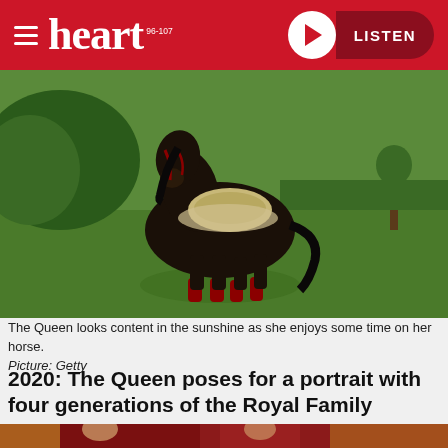heart 96-107 | LISTEN
[Figure (photo): A dark brown/black horse standing on a green lawn in sunshine, wearing a saddle and bridle, with trees in the background.]
The Queen looks content in the sunshine as she enjoys some time on her horse. Picture: Getty
2020: The Queen poses for a portrait with four generations of the Royal Family
[Figure (photo): Partial view of a formal royal portrait photo showing figures in front of red curtains with ornate gold frames.]